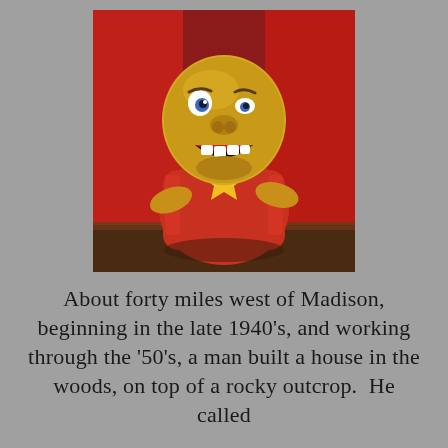[Figure (photo): A photograph of a vintage decorative figurine or toy with a large round yellow face, open mouth smile, painted features, wearing a colorful clown-like outfit with red, blue, and yellow colors. Red curtain visible in the background.]
About forty miles west of Madison, beginning in the late 1940's, and working through the '50's, a man built a house in the woods, on top of a rocky outcrop.  He called